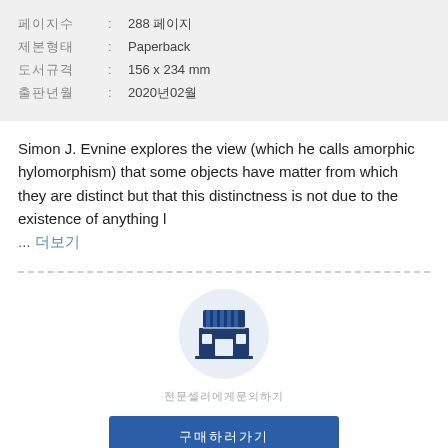| 페이지수 | : | 288 페이지 |
| 제본형태 | : | Paperback |
| 도서규격 | : | 156 x 234 mm |
| 출판년월 | : | 2020년02월 |
Simon J. Evnine explores the view (which he calls amorphic hylomorphism) that some objects have matter from which they are distinct but that this distinctness is not due to the existence of anything l ... 더보기
[Figure (illustration): Store/shop icon inside a light blue circle]
전문셀러에게문의하기
구매하러가기